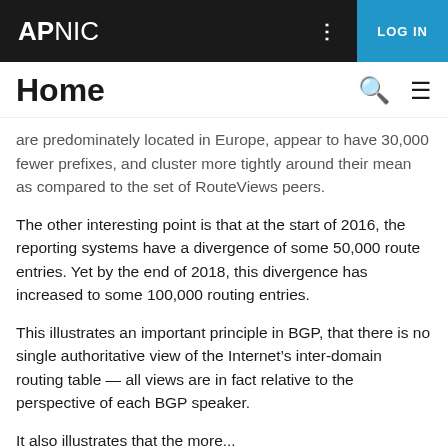APNIC | LOG IN
Home
are predominately located in Europe, appear to have 30,000 fewer prefixes, and cluster more tightly around their mean as compared to the set of RouteViews peers.
The other interesting point is that at the start of 2016, the reporting systems have a divergence of some 50,000 route entries. Yet by the end of 2018, this divergence has increased to some 100,000 routing entries.
This illustrates an important principle in BGP, that there is no single authoritative view of the Internet’s inter-domain routing table — all views are in fact relative to the perspective of each BGP speaker.
It also illustrates that the more...